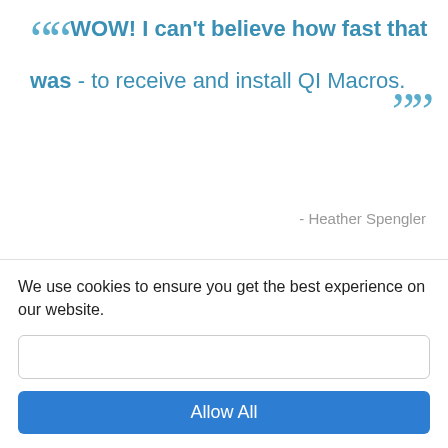"WOW! I can't believe how fast that was - to receive and install QI Macros."
- Heather Spengler
"The mystique of 6sig may be its own tallest barrier in penetrating healthcare. Sad to say, I have seen healthcare leaders so intimidated by 6sig's presumed mathematical complexity and its reputation for being expensive that"
We use cookies to ensure you get the best experience on our website.
Allow All